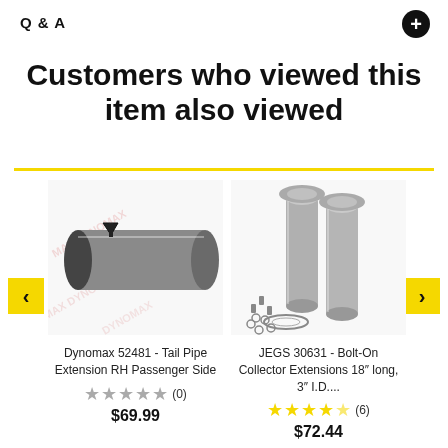Q & A
Customers who viewed this item also viewed
[Figure (photo): Product image of Dynomax 52481 - Tail Pipe Extension RH Passenger Side, a cylindrical metal pipe with a bracket, with watermark logos]
Dynomax 52481 - Tail Pipe Extension RH Passenger Side
★★★★★ (0)
$69.99
[Figure (photo): Product image of JEGS 30631 - Bolt-On Collector Extensions 18 inch long, 3 inch I.D., showing two silver metal tubes with a gasket and hardware]
JEGS 30631 - Bolt-On Collector Extensions 18" long, 3" I.D....
★★★★★ (6)
$72.44